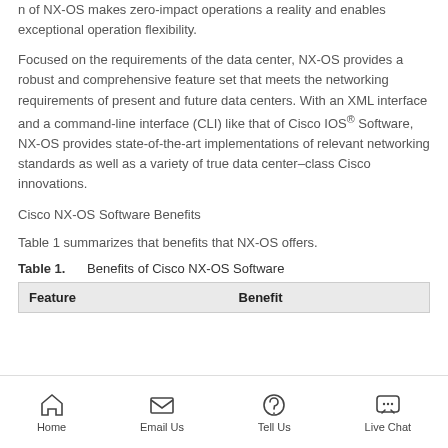n of NX-OS makes zero-impact operations a reality and enables exceptional operation flexibility.
Focused on the requirements of the data center, NX-OS provides a robust and comprehensive feature set that meets the networking requirements of present and future data centers. With an XML interface and a command-line interface (CLI) like that of Cisco IOS® Software, NX-OS provides state-of-the-art implementations of relevant networking standards as well as a variety of true data center–class Cisco innovations.
Cisco NX-OS Software Benefits
Table 1 summarizes that benefits that NX-OS offers.
Table 1.    Benefits of Cisco NX-OS Software
| Feature | Benefit |
| --- | --- |
Home | Email Us | Tell Us | Live Chat